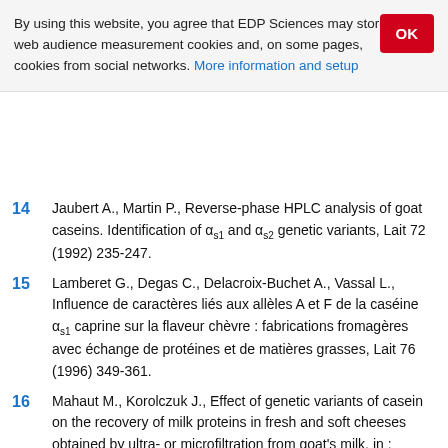By using this website, you agree that EDP Sciences may store web audience measurement cookies and, on some pages, cookies from social networks. More information and setup
14  Jaubert A., Martin P., Reverse-phase HPLC analysis of goat caseins. Identification of α_s1 and α_s2 genetic variants, Lait 72 (1992) 235-247.
15  Lamberet G., Degas C., Delacroix-Buchet A., Vassal L., Influence de caractères liés aux allèles A et F de la caséine α_s1 caprine sur la flaveur chèvre : fabrications fromagères avec échange de protéines et de matières grasses, Lait 76 (1996) 349-361.
16  Mahaut M., Korolczuk J., Effect of genetic variants of casein on the recovery of milk proteins in fresh and soft cheeses obtained by ultra- or microfiltration from goat's milk, in : Cheese yield and factors affecting its control. Special issue 9402, Int. Dairy Fed., Brussels, Belgium 1993, 174-178.